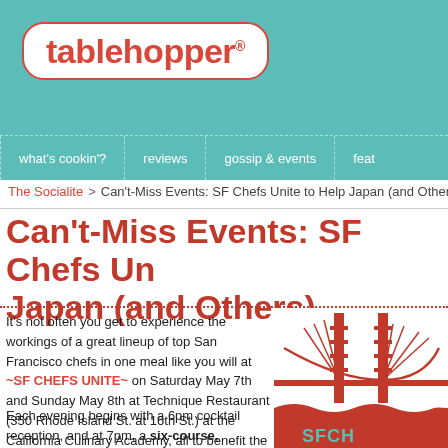[Figure (logo): tablehopper logo with red text on white rounded rectangle background, on teal header]
what's cookin'?   reviews   gossip & events   feat
The Socialite > Can't-Miss Events: SF Chefs Unite to Help Japan (and Others)
Can't-Miss Events: SF Chefs Unite to Help Japan (and Others)
It's not often you get to experience the workings of a great lineup of top San Francisco chefs in one meal like you will at ~SF CHEFS UNITE~ on Saturday May 7th and Sunday May 8th at Technique Restaurant (350 Rhode Island St. at 16th St.) at the California Culinary Academy, all to benefit the JCCCNC's Northern Japan Earthquake Relief Fund.

Each evening begins with a 6pm cocktail reception, and at 7pm, a six-course, Japanese-inspired meal with beer, sake, wine, and cocktail pairings, plus a silent
[Figure (illustration): Red illustration of the Golden Gate Bridge with SFCH text at bottom, on white background]